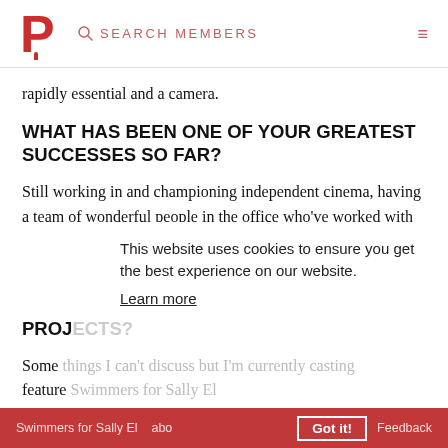P [logo] SEARCH MEMBERS [hamburger menu]
rapidly essential and a camera.
WHAT HAS BEEN ONE OF YOUR GREATEST SUCCESSES SO FAR?
Still working in and championing independent cinema, having a team of wonderful people in the office who've worked with me a long time and my passion for discovering talent is as strong as ever.
COULD YOU TELL US ABOUT YOUR FUTURE PROJECTS?
Some things I can't discuss but I'm currently casting feature Swimmers for Sally El [...]  abo[ut]
This website uses cookies to ensure you get the best experience on our website. Learn more
Got it! Feedback